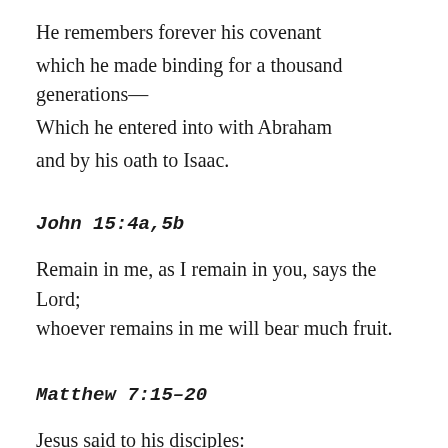He remembers forever his covenant
which he made binding for a thousand generations—
Which he entered into with Abraham
and by his oath to Isaac.
John 15:4a,5b
Remain in me, as I remain in you, says the Lord;
whoever remains in me will bear much fruit.
Matthew 7:15–20
Jesus said to his disciples:
“Beware of false prophets, who come to you in sheep’s clothing,
but underneath are ravenous wolves.